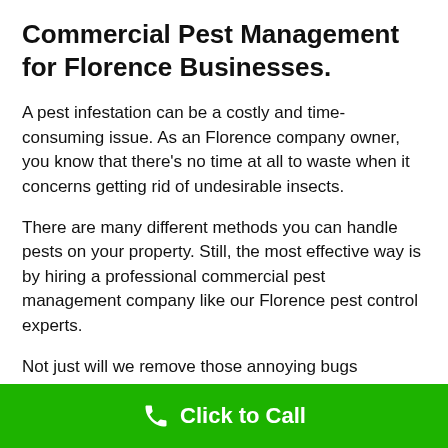Commercial Pest Management for Florence Businesses.
A pest infestation can be a costly and time-consuming issue. As an Florence company owner, you know that there's no time at all to waste when it concerns getting rid of undesirable insects.
There are many different methods you can handle pests on your property. Still, the most effective way is by hiring a professional commercial pest management company like our Florence pest control experts.
Not just will we remove those annoying bugs completely, yet we additionally offer some other extra services such as termite inspections and also rodent control!
Click to Call